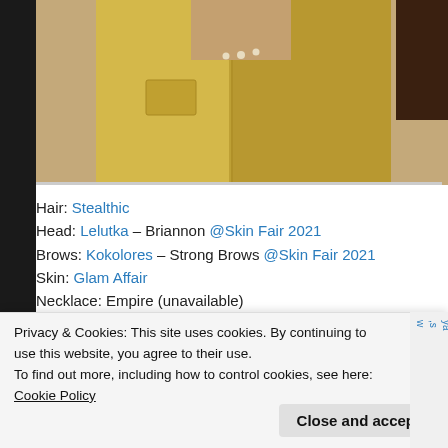[Figure (photo): Partial photo of a person wearing a yellow/golden jacket, cropped at the top of the page. Dark background with skin and fabric visible.]
Hair: Stealthic
Head: Lelutka – Briannon @Skin Fair 2021
Brows: Kokolores – Strong Brows @Skin Fair 2021
Skin: Glam Affair
Necklace: Empire (unavailable)
Top: Thalia Heckroth – Liana
Pose: Diversion
Backdrop: Paleto
By Ivvana • Posted in 3d, Blog, Empire, kokolores, links, me, S2S, second life, second...
Privacy & Cookies: This site uses cookies. By continuing to use this website, you agree to their use.
To find out more, including how to control cookies, see here: Cookie Policy
Close and accept